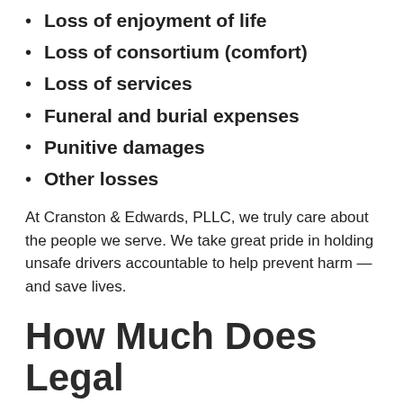Loss of enjoyment of life
Loss of consortium (comfort)
Loss of services
Funeral and burial expenses
Punitive damages
Other losses
At Cranston & Edwards, PLLC, we truly care about the people we serve. We take great pride in holding unsafe drivers accountable to help prevent harm — and save lives.
How Much Does Legal Representation Cost?
At Cranston & Edwards, PLLC, we work on a